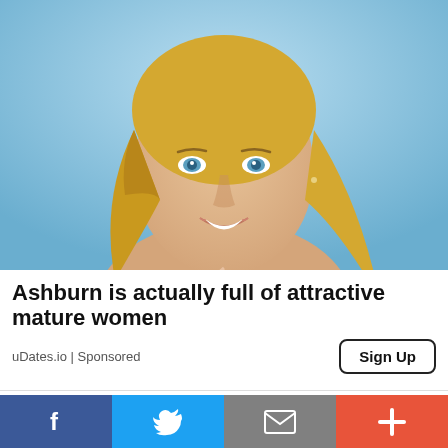[Figure (photo): Young blonde woman with blue eyes smiling against a blue sky background, outdoor photo]
Ashburn is actually full of attractive mature women
uDates.io | Sponsored
Sign Up
[Figure (screenshot): Partial view of a second advertisement strip showing NBC Golf logo and image thumbnails]
[Figure (infographic): Social media sharing bar with Facebook, Twitter, email, and plus buttons]